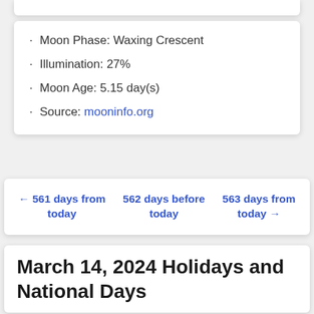Moon Phase: Waxing Crescent
Illumination: 27%
Moon Age: 5.15 day(s)
Source: mooninfo.org
← 561 days from today   562 days before today   563 days from today →
March 14, 2024 Holidays and National Days